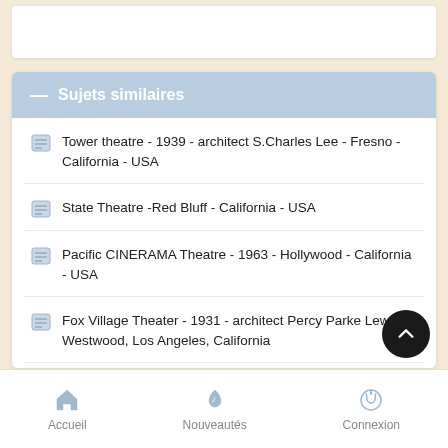Sujets similaires
Tower theatre - 1939 - architect S.Charles Lee - Fresno - California - USA
State Theatre -Red Bluff - California - USA
Pacific CINERAMA Theatre - 1963 - Hollywood - California - USA
Fox Village Theater - 1931 - architect Percy Parke Lewis - Westwood, Los Angeles, California
Eero Saarinen - 1910 - 1961 - Architecte & designer
Accueil   Nouveautés   Connexion